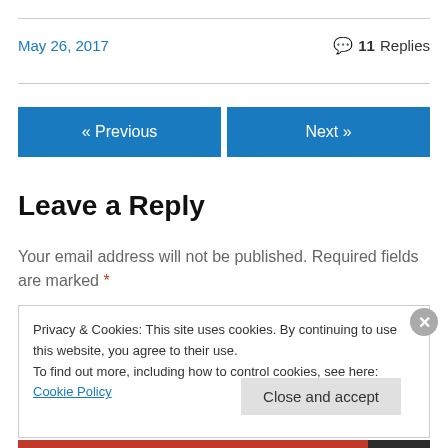May 26, 2017
💬 11 Replies
« Previous
Next »
Leave a Reply
Your email address will not be published. Required fields are marked *
Privacy & Cookies: This site uses cookies. By continuing to use this website, you agree to their use.
To find out more, including how to control cookies, see here: Cookie Policy
Close and accept